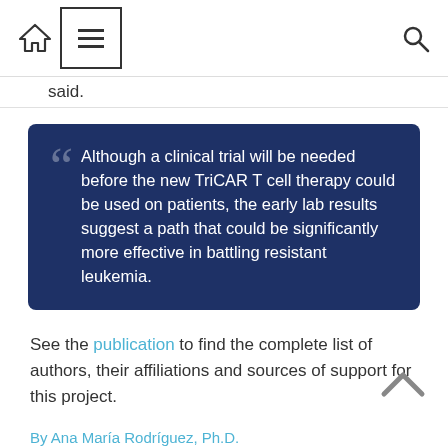Navigation bar with home icon, menu icon, and search icon
said.
Although a clinical trial will be needed before the new TriCAR T cell therapy could be used on patients, the early lab results suggest a path that could be significantly more effective in battling resistant leukemia.
See the publication to find the complete list of authors, their affiliations and sources of support for this project.